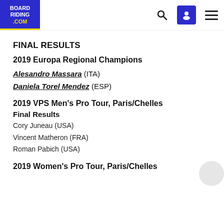BOARD RIDING .COM
FINAL RESULTS
2019 Europa Regional Champions
Alesandro Massara (ITA)
Daniela Torel Mendez (ESP)
2019 VPS Men's Pro Tour, Paris/Chelles
Final Results
Cory Juneau (USA)
Vincent Matheron (FRA)
Roman Pabich (USA)
2019 Women's Pro Tour, Paris/Chelles